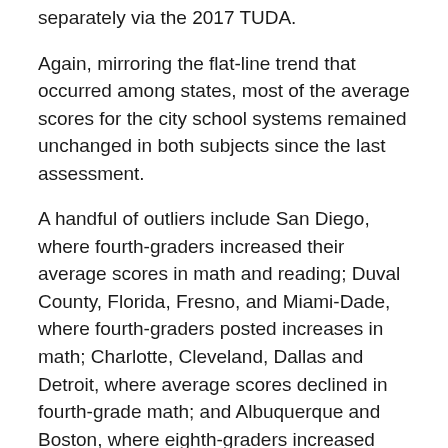separately via the 2017 TUDA.
Again, mirroring the flat-line trend that occurred among states, most of the average scores for the city school systems remained unchanged in both subjects since the last assessment.
A handful of outliers include San Diego, where fourth-graders increased their average scores in math and reading; Duval County, Florida, Fresno, and Miami-Dade, where fourth-graders posted increases in math; Charlotte, Cleveland, Dallas and Detroit, where average scores declined in fourth-grade math; and Albuquerque and Boston, where eighth-graders increased average reading scores.
“Today’s release of The Nation’s Report Card confirms that there is still much work to be done to close achievement gaps and ensure that our young people